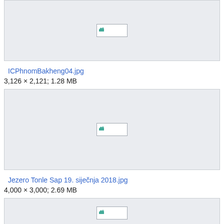[Figure (photo): Image thumbnail placeholder for ICPhnomBakheng04.jpg, broken image icon shown]
ICPhnomBakheng04.jpg
3,126 × 2,121; 1.28 MB
[Figure (photo): Image thumbnail placeholder for Jezero Tonle Sap 19. siječnja 2018.jpg, broken image icon shown]
Jezero Tonle Sap 19. siječnja 2018.jpg
4,000 × 3,000; 2.69 MB
[Figure (photo): Image thumbnail placeholder (third image, partially visible), broken image icon shown]